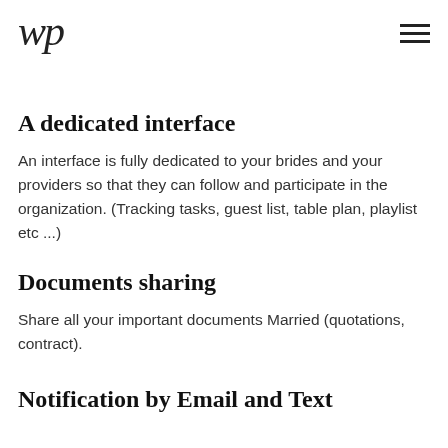wp [logo] [hamburger menu]
A dedicated interface
An interface is fully dedicated to your brides and your providers so that they can follow and participate in the organization. (Tracking tasks, guest list, table plan, playlist etc ...)
Documents sharing
Share all your important documents Married (quotations, contract).
Notification by Email and Text